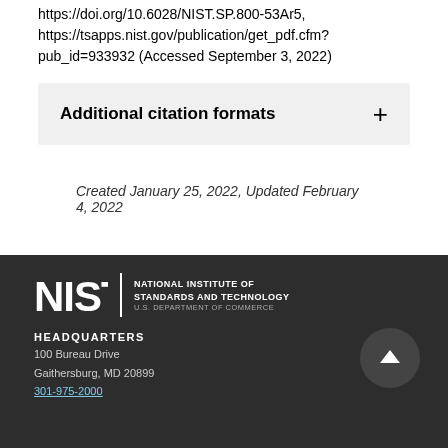https://doi.org/10.6028/NIST.SP.800-53Ar5, https://tsapps.nist.gov/publication/get_pdf.cfm?pub_id=933932 (Accessed September 3, 2022)
Additional citation formats
Created January 25, 2022, Updated February 4, 2022
[Figure (logo): NIST - National Institute of Standards and Technology, U.S. Department of Commerce logo]
HEADQUARTERS
100 Bureau Drive
Gaithersburg, MD 20899
301-975-2000